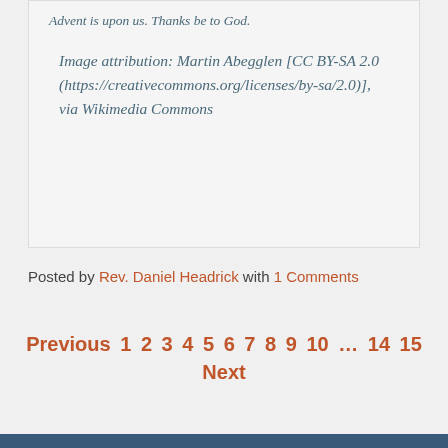Advent is upon us. Thanks be to God.
Image attribution: Martin Abegglen [CC BY-SA 2.0 (https://creativecommons.org/licenses/by-sa/2.0)], via Wikimedia Commons
Posted by Rev. Daniel Headrick with 1 Comments
Previous 1 2 3 4 5 6 7 8 9 10 ... 14 15 Next